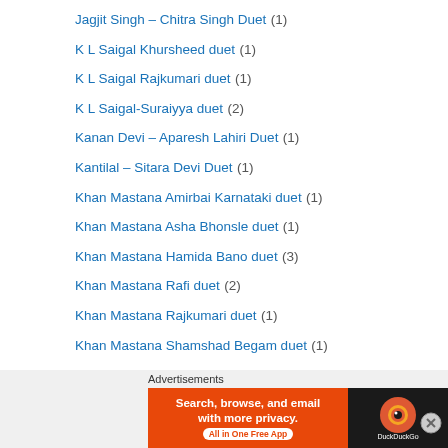Jagjit Singh – Chitra Singh Duet (1)
K L Saigal Khursheed duet (1)
K L Saigal Rajkumari duet (1)
K L Saigal-Suraiyya duet (2)
Kanan Devi – Aparesh Lahiri Duet (1)
Kantilal – Sitara Devi Duet (1)
Khan Mastana Amirbai Karnataki duet (1)
Khan Mastana Asha Bhonsle duet (1)
Khan Mastana Hamida Bano duet (3)
Khan Mastana Rafi duet (2)
Khan Mastana Rajkumari duet (1)
Khan Mastana Shamshad Begam duet (1)
Khan Mastana Sulochana Kadam duet (1)
Khan Mastana Zohrabai Ambalewaali duet (2)
Khursheed – Kantilal Duet (1)
Kishore Kumar – RD Burman Duet (1)
[Figure (infographic): DuckDuckGo advertisement banner: orange background with text 'Search, browse, and email with more privacy. All in One Free App' and DuckDuckGo logo on dark background]